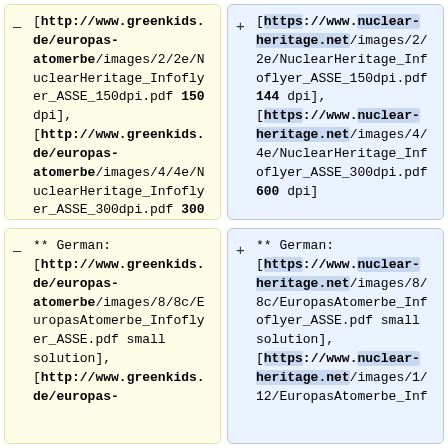– [http://www.greenkids.de/europas-atomerbe/images/2/2e/NuclearHeritage_Infoflyer_ASSE_150dpi.pdf 150 dpi], [http://www.greenkids.de/europas-atomerbe/images/4/4e/NuclearHeritage_Infoflyer_ASSE_300dpi.pdf 300 dpi]
+ [https://www.nuclear-heritage.net/images/2/2e/NuclearHeritage_Infoflyer_ASSE_150dpi.pdf 144 dpi], [https://www.nuclear-heritage.net/images/4/4e/NuclearHeritage_Infoflyer_ASSE_300dpi.pdf 600 dpi]
– ** German: [http://www.greenkids.de/europas-atomerbe/images/8/8c/EuropasAtomerbe_Infoflyer_ASSE.pdf small solution], [http://www.greenkids.de/europas-atomerbe/
+ ** German: [https://www.nuclear-heritage.net/images/8/8c/EuropasAtomerbe_Infoflyer_ASSE.pdf small solution], [https://www.nuclear-heritage.net/images/1/12/EuropasAtomerbe_Inf